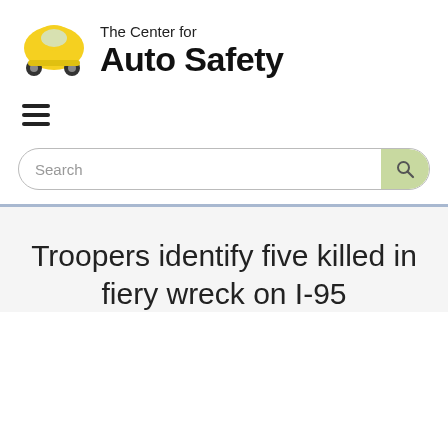[Figure (logo): The Center for Auto Safety logo — yellow cartoon lemon-shaped car with wheels on the left, text 'The Center for Auto Safety' on the right]
[Figure (other): Hamburger menu icon (three horizontal lines)]
[Figure (other): Search bar with placeholder text 'Search' and a green search button with magnifying glass icon]
Troopers identify five killed in fiery wreck on I-95